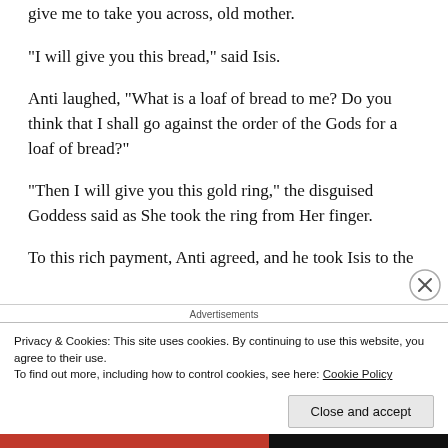give me to take you across, old mother.
“I will give you this bread,” said Isis.
Anti laughed, “What is a loaf of bread to me? Do you think that I shall go against the order of the Gods for a loaf of bread?”
“Then I will give you this gold ring,” the disguised Goddess said as She took the ring from Her finger.
To this rich payment, Anti agreed, and he took Isis to the
Advertisements
Privacy & Cookies: This site uses cookies. By continuing to use this website, you agree to their use.
To find out more, including how to control cookies, see here: Cookie Policy
Close and accept